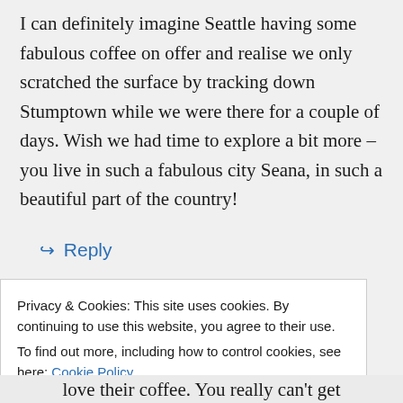I can definitely imagine Seattle having some fabulous coffee on offer and realise we only scratched the surface by tracking down Stumptown while we were there for a couple of days. Wish we had time to explore a bit more – you live in such a fabulous city Seana, in such a beautiful part of the country!
↪ Reply
Privacy & Cookies: This site uses cookies. By continuing to use this website, you agree to their use.
To find out more, including how to control cookies, see here: Cookie Policy
Close and accept
love their coffee. You really can't get